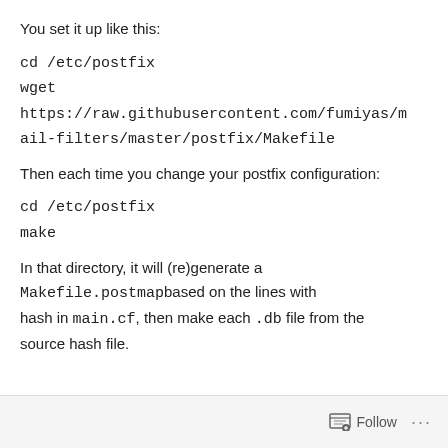You set it up like this:
cd /etc/postfix
wget
https://raw.githubusercontent.com/fumiyas/mail-filters/master/postfix/Makefile
Then each time you change your postfix configuration:
cd /etc/postfix
make
In that directory, it will (re)generate a Makefile.postmapbased on the lines with hash in main.cf, then make each .db file from the source hash file.
Follow ...